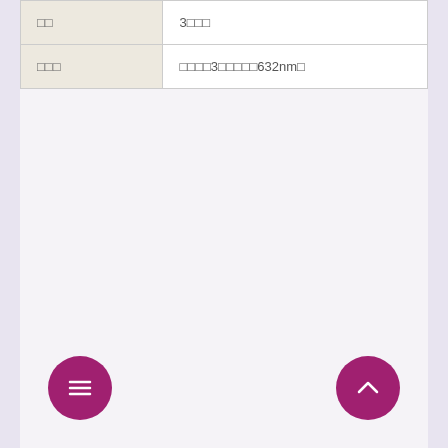| □□ | 3□□□ |
| □□□ | □□□□3□□□□□632nm□ |